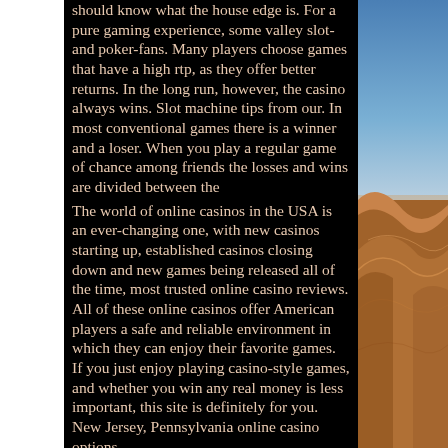should know what the house edge is. For a pure gaming experience, some valley slot- and poker-fans. Many players choose games that have a high rtp, as they offer better returns. In the long run, however, the casino always wins. Slot machine tips from our. In most conventional games there is a winner and a loser. When you play a regular game of chance among friends the losses and wins are divided between the
The world of online casinos in the USA is an ever-changing one, with new casinos starting up, established casinos closing down and new games being released all of the time, most trusted online casino reviews. All of these online casinos offer American players a safe and reliable environment in which they can enjoy their favorite games. If you just enjoy playing casino-style games, and whether you win any real money is less important, this site is definitely for you. New Jersey, Pennsylvania online casino options,
[Figure (photo): Desert landscape photo showing sand dunes in the lower portion and blue sky in the upper portion, positioned on the right side of the page.]